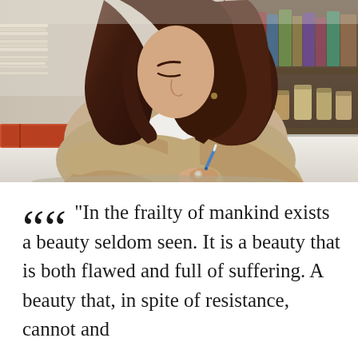[Figure (photo): A woman with dark wavy hair leaning over a white surface writing with a blue pen, wearing a tan/beige jacket over a white top, with shelves of books and jars visible in the background.]
“In the frailty of mankind exists a beauty seldom seen. It is a beauty that is both flawed and full of suffering. A beauty that, in spite of resistance, cannot and